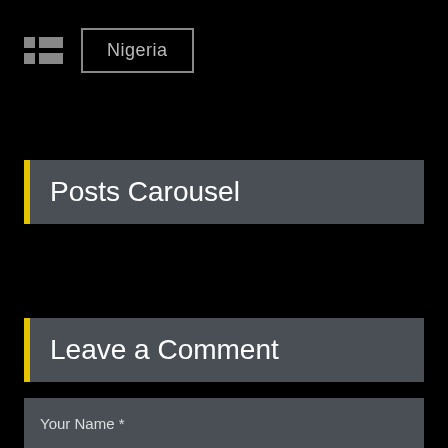[Figure (logo): Small grid/table icon made of gray squares]
Nigeria
Posts Carousel
Leave a Comment
Your email address will not be published. Required fields are marked with *
[Figure (other): Left navigation arrow button (yellow)]
[Figure (other): Right navigation arrow button (yellow)]
Your Name *